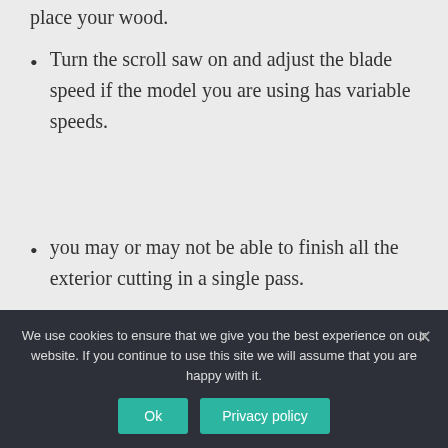place your wood.
Turn the scroll saw on and adjust the blade speed if the model you are using has variable speeds.
you may or may not be able to finish all the exterior cutting in a single pass.
Which scroll saw for a
We use cookies to ensure that we give you the best experience on our website. If you continue to use this site we will assume that you are happy with it.